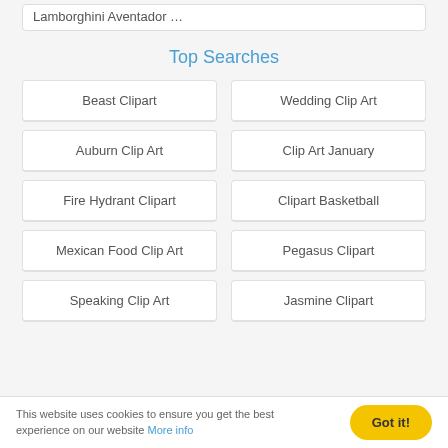Lamborghini Aventador …
Top Searches
Beast Clipart
Wedding Clip Art
Auburn Clip Art
Clip Art January
Fire Hydrant Clipart
Clipart Basketball
Mexican Food Clip Art
Pegasus Clipart
Speaking Clip Art
Jasmine Clipart
This website uses cookies to ensure you get the best experience on our website More info